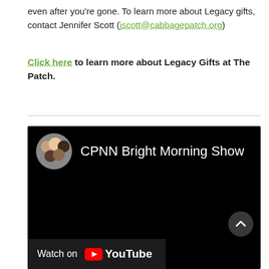even after you're gone. To learn more about Legacy gifts, contact Jennifer Scott (jscott@cabbagepatch.org)
Click here to learn more about Legacy Gifts at The Patch.
[Figure (screenshot): Embedded YouTube video player showing 'CPNN Bright Morning Show' channel with circular channel icon of group of people, black video area, 'Watch on YouTube' bar at bottom left, and back-to-top button at bottom right.]